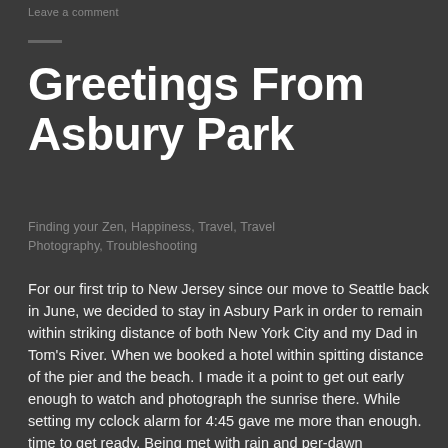Leave a comment
Greetings From Asbury Park
Finding your Zen, Happiness, Travel, Travel Photography, Troubleshooting
For our first trip to New Jersey since our move to Seattle back in June, we decided to stay in Asbury Park in order to remain within striking distance of both New York City and my Dad in Tom's River. When we booked a hotel within spitting distance of the pier and the beach. I made it a point to get out early enough to watch and photograph the sunrise there. While setting my cclock alarm for 4:45 gave me more than enough. time to get ready. Being met with rain and per-dawn